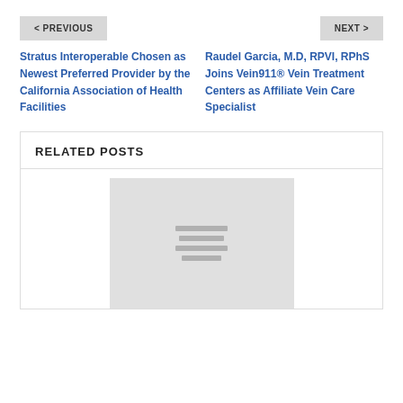< PREVIOUS
NEXT >
Stratus Interoperable Chosen as Newest Preferred Provider by the California Association of Health Facilities
Raudel Garcia, M.D, RPVI, RPhS Joins Vein911® Vein Treatment Centers as Affiliate Vein Care Specialist
RELATED POSTS
[Figure (photo): Placeholder image for a related post thumbnail]